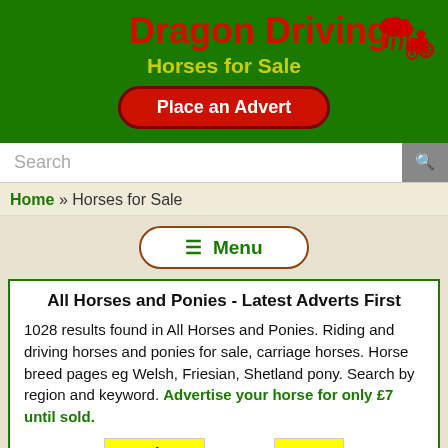Dragon Driving
Horses for Sale
Place an Advert
Search
Home » Horses for Sale
☰  Menu
All Horses and Ponies - Latest Adverts First
1028 results found in All Horses and Ponies. Riding and driving horses and ponies for sale, carriage horses. Horse breed pages eg Welsh, Friesian, Shetland pony. Search by region and keyword. Advertise your horse for only £7 until sold.
Previous  Page 9  Next